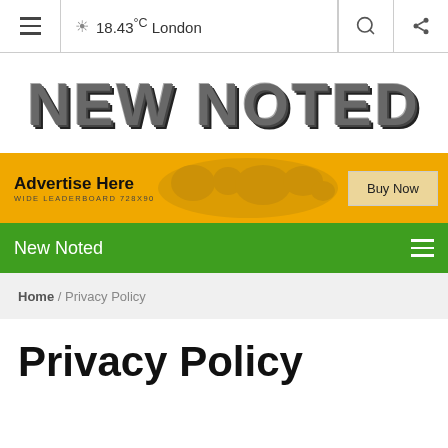☀ 18.43°C London
[Figure (logo): NEW NOTED logo in large bold 3D gray lettered text]
[Figure (infographic): Advertisement banner: 'Advertise Here / WIDE LEADERBOARD 728X90' with world map graphic and 'Buy Now' button on yellow/golden background]
New Noted
Home / Privacy Policy
Privacy Policy